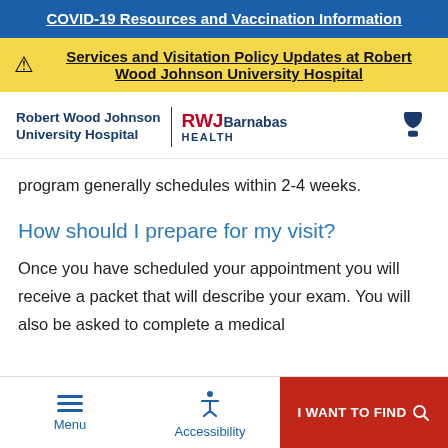COVID-19 Resources and Vaccination Information
Services and Visitation Policy Updates at Robert Wood Johnson University Hospital
[Figure (logo): Robert Wood Johnson University Hospital | RWJBarnabas Health logo with phone icon]
program generally schedules within 2-4 weeks.
How should I prepare for my visit?
Once you have scheduled your appointment you will receive a packet that will describe your exam. You will also be asked to complete a medical
Menu | Accessibility | I WANT TO FIND